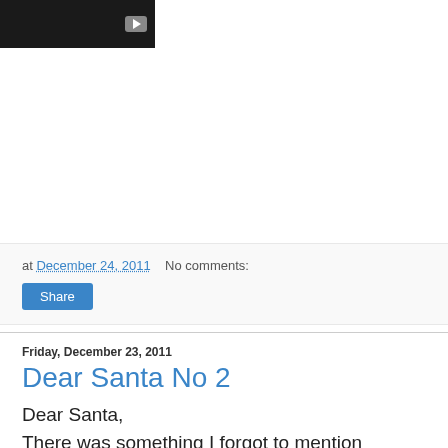[Figure (screenshot): Dark video thumbnail with a play button in the upper right area]
at December 24, 2011   No comments:
Share
Friday, December 23, 2011
Dear Santa No 2
Dear Santa,
There was something I forgot to mention yesterday.